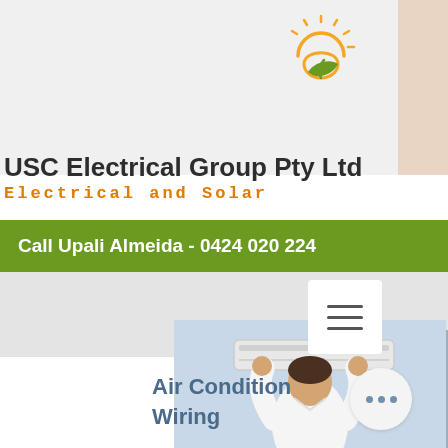[Figure (logo): USC Electrical Group logo: sun rays above a stylised letter e with leaf/solar motif in orange and green]
USC Electrical Group Pty Ltd
Electrical and Solar
Call Upali Almeida - 0424 020 224
[Figure (photo): Technician in white shirt installing or working on a wall-mounted air conditioning unit, seen from behind, arms raised]
Air Condition Wiring